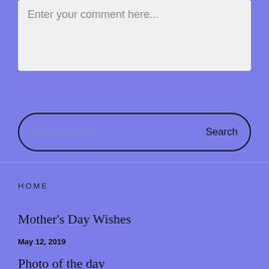Enter your comment here...
Enter keywords
Search
HOME
Mother's Day Wishes
May 12, 2019
Photo of the day